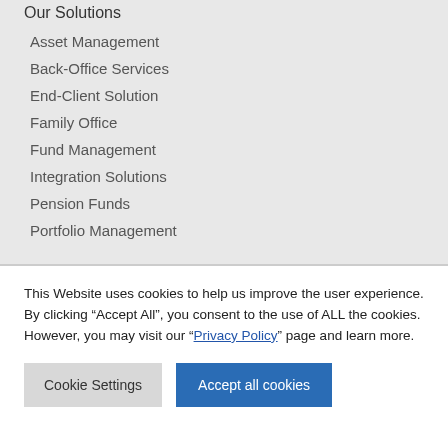Our Solutions
Asset Management
Back-Office Services
End-Client Solution
Family Office
Fund Management
Integration Solutions
Pension Funds
Portfolio Management
This Website uses cookies to help us improve the user experience. By clicking “Accept All”, you consent to the use of ALL the cookies. However, you may visit our "Privacy Policy" page and learn more.
Cookie Settings | Accept all cookies